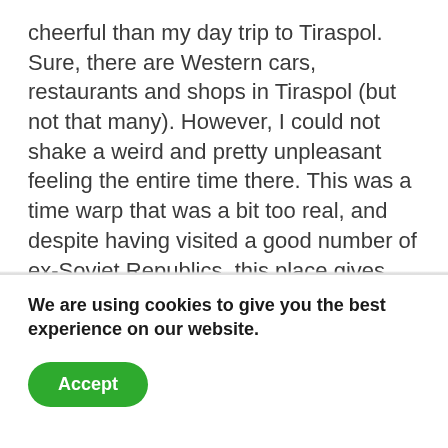cheerful than my day trip to Tiraspol. Sure, there are Western cars, restaurants and shops in Tiraspol (but not that many). However,  I could not shake a weird and pretty unpleasant feeling the entire time there. This was a time warp that was a bit too real, and despite having visited a good number of ex-Soviet Republics, this place gives perhaps the most authentic Socialist realism experience.
Transnistria is officially part of Moldova, inofficially and unrecognised after a long association with the Soviet Union and now Russia, they have proclaimed
We are using cookies to give you the best experience on our website.
Accept